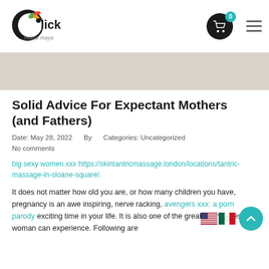[Figure (logo): Click Riviera Maya logo with colorful bird icon]
[Figure (other): Shopping cart icon with badge showing 0, and hamburger menu icon]
[Figure (other): Gray banner area, decorative background]
Solid Advice For Expectant Mothers (and Fathers)
Date: May 28, 2022    By    Categories: Uncategorized
No comments
big sexy women xxx https://skintantricmassage.london/locations/tantric-massage-in-sloane-square/.
It does not matter how old you are, or how many children you have, pregnancy is an awe inspiring, nerve racking, avengers xxx: a porn parody exciting time in your life. It is also one of the greatest miracles a woman can experience. Following are